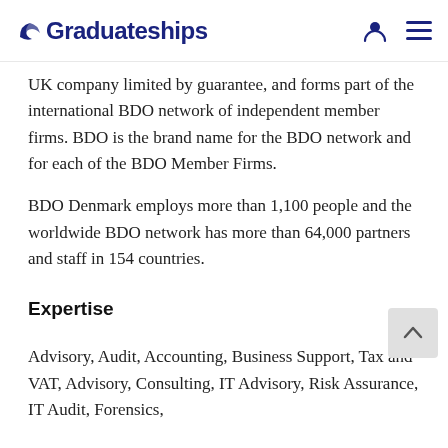Graduateships
UK company limited by guarantee, and forms part of the international BDO network of independent member firms. BDO is the brand name for the BDO network and for each of the BDO Member Firms.
BDO Denmark employs more than 1,100 people and the worldwide BDO network has more than 64,000 partners and staff in 154 countries.
Expertise
Advisory, Audit, Accounting, Business Support, Tax and VAT, Advisory, Consulting, IT Advisory, Risk Assurance, IT Audit, Forensics,